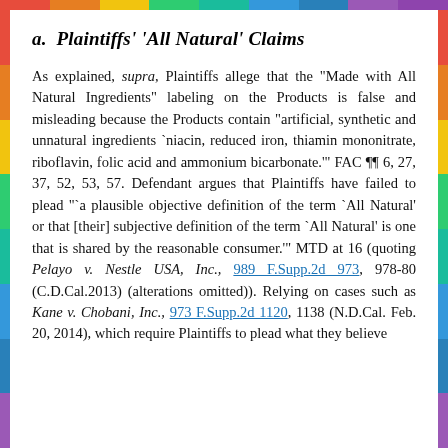a.  Plaintiffs' 'All Natural' Claims
As explained, supra, Plaintiffs allege that the "Made with All Natural Ingredients" labeling on the Products is false and misleading because the Products contain "artificial, synthetic and unnatural ingredients `niacin, reduced iron, thiamin mononitrate, riboflavin, folic acid and ammonium bicarbonate.'" FAC ¶¶ 6, 27, 37, 52, 53, 57. Defendant argues that Plaintiffs have failed to plead "`a plausible objective definition of the term `All Natural' or that [their] subjective definition of the term `All Natural' is one that is shared by the reasonable consumer.'" MTD at 16 (quoting Pelayo v. Nestle USA, Inc., 989 F.Supp.2d 973, 978-80 (C.D.Cal.2013) (alterations omitted)). Relying on cases such as Kane v. Chobani, Inc., 973 F.Supp.2d 1120, 1138 (N.D.Cal. Feb. 20, 2014), which require Plaintiffs to plead what they believe